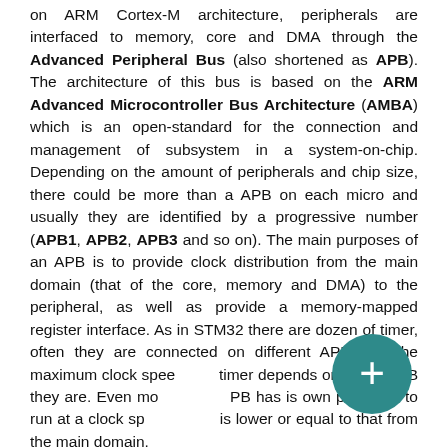on ARM Cortex-M architecture, peripherals are interfaced to memory, core and DMA through the Advanced Peripheral Bus (also shortened as APB). The architecture of this bus is based on the ARM Advanced Microcontroller Bus Architecture (AMBA) which is an open-standard for the connection and management of subsystem in a system-on-chip. Depending on the amount of peripherals and chip size, there could be more than a APB on each micro and usually they are identified by a progressive number (APB1, APB2, APB3 and so on). The main purposes of an APB is to provide clock distribution from the main domain (that of the core, memory and DMA) to the peripheral, as well as provide a memory-mapped register interface. As in STM32 there are dozen of timer, often they are connected on different APB and the maximum clock speed of a timer depends on which APB they are. Even more, each APB has is own prescaler to run at a clock speed which is lower or equal to that from the main domain.
[Figure (other): Teal circular floating action button with a white plus sign (+) overlaid on the bottom-right of the text content]